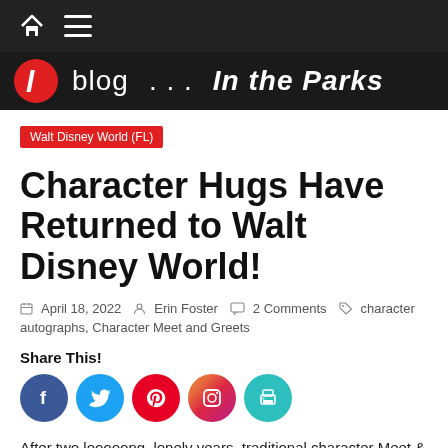blog ... In the Parks
Walt Disney World (FL)
Character Hugs Have Returned to Walt Disney World!
April 18, 2022  Erin Foster  2 Comments  character autographs, Character Meet and Greets
Share This!
[Figure (infographic): Social sharing icons: Facebook, Twitter, Pinterest, Instagram, Print]
After two looooong, lonely years, traditional character Meet & Greet opportunities have returned to Walt Disney World! That means that you can now pose for non-distanced photos, get